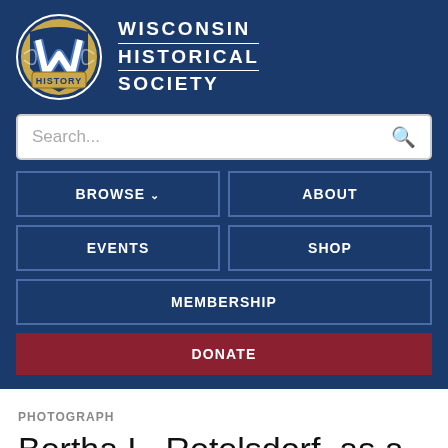[Figure (logo): Wisconsin Historical Society logo: stylized W on baseball with 'HISTORY' banner, next to text WISCONSIN HISTORICAL SOCIETY]
Search...
BROWSE
ABOUT
EVENTS
SHOP
MEMBERSHIP
DONATE
PHOTOGRAPH
Bertha L. Retelsdorf, as a Cook